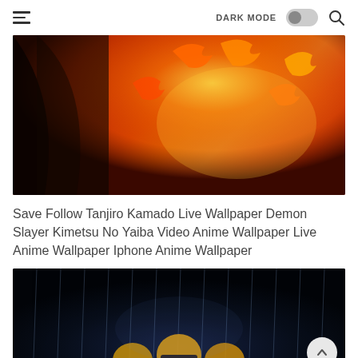DARK MODE [toggle] [search]
[Figure (illustration): Anime artwork of Tanjiro Kamado from Demon Slayer surrounded by flames and fire effects in orange, red and yellow tones]
Save Follow Tanjiro Kamado Live Wallpaper Demon Slayer Kimetsu No Yaiba Video Anime Wallpaper Live Anime Wallpaper Iphone Anime Wallpaper
[Figure (illustration): Dark anime scene with characters in a dark environment, with blue lighting accents — appears to show multiple anime figures in a dramatic scene]